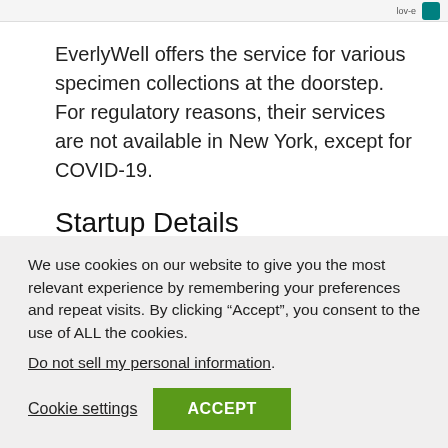lov-e
EverlyWell offers the service for various specimen collections at the doorstep. For regulatory reasons, their services are not available in New York, except for COVID-19.
Startup Details
Website: https://www.everlywell.com
We use cookies on our website to give you the most relevant experience by remembering your preferences and repeat visits. By clicking “Accept”, you consent to the use of ALL the cookies.
Do not sell my personal information.
Cookie settings   ACCEPT